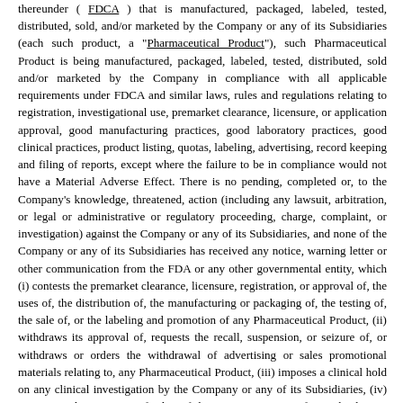thereunder ( FDCA ) that is manufactured, packaged, labeled, tested, distributed, sold, and/or marketed by the Company or any of its Subsidiaries (each such product, a "Pharmaceutical Product"), such Pharmaceutical Product is being manufactured, packaged, labeled, tested, distributed, sold and/or marketed by the Company in compliance with all applicable requirements under FDCA and similar laws, rules and regulations relating to registration, investigational use, premarket clearance, licensure, or application approval, good manufacturing practices, good laboratory practices, good clinical practices, product listing, quotas, labeling, advertising, record keeping and filing of reports, except where the failure to be in compliance would not have a Material Adverse Effect. There is no pending, completed or, to the Company's knowledge, threatened, action (including any lawsuit, arbitration, or legal or administrative or regulatory proceeding, charge, complaint, or investigation) against the Company or any of its Subsidiaries, and none of the Company or any of its Subsidiaries has received any notice, warning letter or other communication from the FDA or any other governmental entity, which (i) contests the premarket clearance, licensure, registration, or approval of, the uses of, the distribution of, the manufacturing or packaging of, the testing of, the sale of, or the labeling and promotion of any Pharmaceutical Product, (ii) withdraws its approval of, requests the recall, suspension, or seizure of, or withdraws or orders the withdrawal of advertising or sales promotional materials relating to, any Pharmaceutical Product, (iii) imposes a clinical hold on any clinical investigation by the Company or any of its Subsidiaries, (iv) enjoins production at any facility of the Company or any of its Subsidiaries, (v) enters or proposes to enter into a consent decree of permanent injunction with the Company or any of its Subsidiaries, or (vi) otherwise alleges any violation of any laws